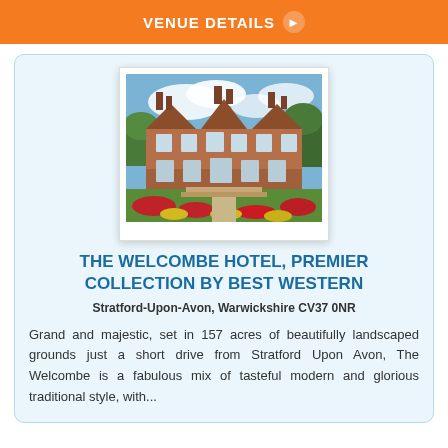VENUE DETAILS ▶
[Figure (photo): Exterior photo of The Welcombe Hotel, a grand Victorian mansion with red sandstone facade, ornate gables, and colourful floral gardens in the foreground against a blue sky.]
THE WELCOMBE HOTEL, PREMIER COLLECTION BY BEST WESTERN
Stratford-Upon-Avon, Warwickshire CV37 0NR
Grand and majestic, set in 157 acres of beautifully landscaped grounds just a short drive from Stratford Upon Avon, The Welcombe is a fabulous mix of tasteful modern and glorious traditional style, with...